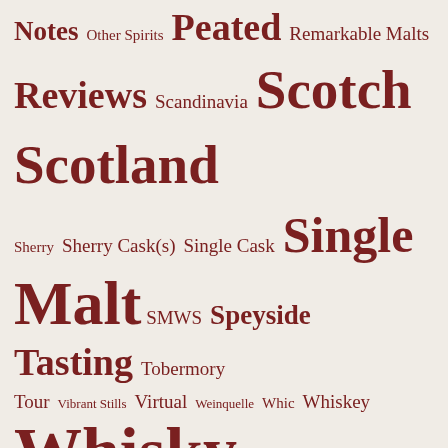Notes Other Spirits Peated Remarkable Malts Reviews Scandinavia Scotch Scotland Sherry Sherry Cask(s) Single Cask Single Malt SMWS Speyside Tasting Tobermory Tour Vibrant Stills Virtual Weinquelle Whic Whiskey Whisky Wolfburn
TOP POSTS
Aberlour A'bunadh - Batch 56 (Review)
Longrow 14yo Sherry Cask (Review)
"SMWS X ÜberQuell" Whisky & Craft Beer Tasting (Event)
Glen Moray Chardonnay, Port & Sherry Cask Finish (Review Flight)
Bowmore 15 Years Old Darkest (Review)